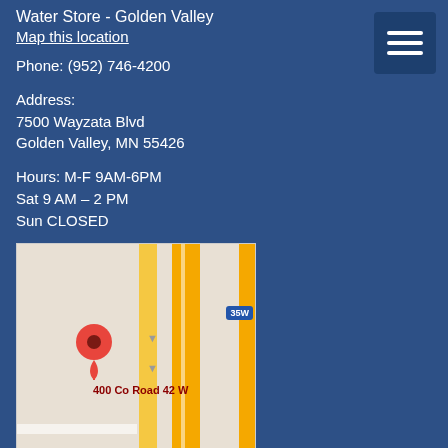Water Store - Golden Valley
Map this location
Phone: (952) 746-4200
Address:
7500 Wayzata Blvd
Golden Valley, MN 55426
Hours: M-F 9AM-6PM
Sat 9 AM – 2 PM
Sun CLOSED
[Figure (map): Google Maps screenshot showing the location at 400 Co Road 42 W near highway 35W, with a red map pin marker.]
Water Store - Burnsville
Map this location